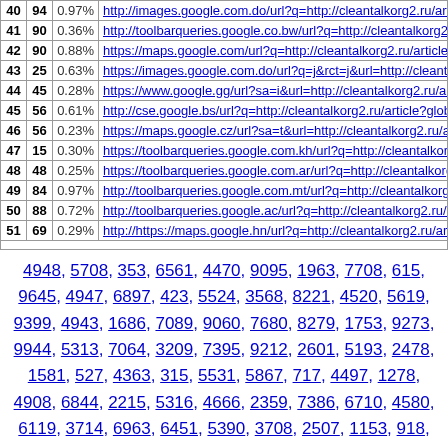| # | # | % | URL |
| --- | --- | --- | --- |
| 40 | 94 | 0.97% | http://images.google.com.do/url?q=http://cleantalkorg2.ru/article?glob |
| 41 | 90 | 0.36% | http://toolbarqueries.google.co.bw/url?q=http://cleantalkorg2.ru/article |
| 42 | 90 | 0.88% | https://maps.google.com/url?q=http://cleantalkorg2.ru/article?globus-k |
| 43 | 25 | 0.63% | https://images.google.com.do/url?q=j&rct=j&url=http://cleantalkorg2.r |
| 44 | 45 | 0.28% | https://www.google.gg/url?sa=i&url=http://cleantalkorg2.ru/article?gl |
| 45 | 56 | 0.61% | http://cse.google.bs/url?q=http://cleantalkorg2.ru/article?globus-kino17 |
| 46 | 56 | 0.23% | https://maps.google.cz/url?sa=t&url=http://cleantalkorg2.ru/article?glo |
| 47 | 15 | 0.30% | https://toolbarqueries.google.com.kh/url?q=http://cleantalkorg2.ru/artic |
| 48 | 48 | 0.25% | https://toolbarqueries.google.com.ar/url?q=http://cleantalkorg2.ru/artic |
| 49 | 84 | 0.97% | http://toolbarqueries.google.com.mt/url?q=http://cleantalkorg2.ru/artic |
| 50 | 88 | 0.72% | http://toolbarqueries.google.ac/url?q=http://cleantalkorg2.ru/article?gl |
| 51 | 69 | 0.29% | http://https://maps.google.hn/url?q=http://cleantalkorg2.ru/article?glob |
4948, 5708, 353, 6561, 4470, 9095, 1963, 7708, 615, 9645, 4947, 6897, 423, 5524, 3568, 8221, 4520, 5619, 9399, 4943, 1686, 7089, 9060, 7680, 8279, 1753, 9273, 9944, 5313, 7064, 3209, 7395, 9212, 2601, 5193, 2478, 1581, 527, 4363, 315, 5531, 5867, 717, 4497, 1278, 4908, 6844, 2215, 5316, 4666, 2359, 7386, 6710, 4580, 6119, 3714, 6963, 6451, 5390, 3708, 2507, 1153, 918, 5406, 8182, 6740, 7214
Generated by Webalizer Version 2.23